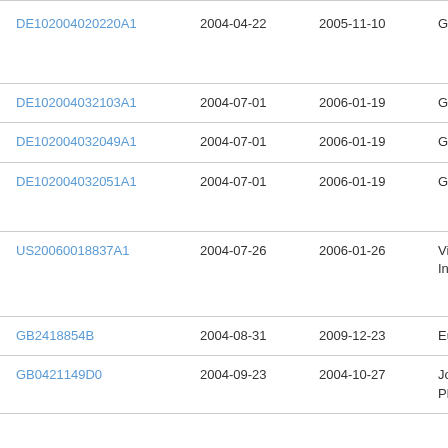| DE102004020220A1 | 2004-04-22 | 2005-11-10 | Grü |
| DE102004032103A1 | 2004-07-01 | 2006-01-19 | Grü |
| DE102004032049A1 | 2004-07-01 | 2006-01-19 | Grü |
| DE102004032051A1 | 2004-07-01 | 2006-01-19 | Grü |
| US20060018837A1 | 2004-07-26 | 2006-01-26 | Vic
Inc |
| GB2418854B | 2004-08-31 | 2009-12-23 | Eur |
| GB0421149D0 | 2004-09-23 | 2004-10-27 | Joh
Plc |